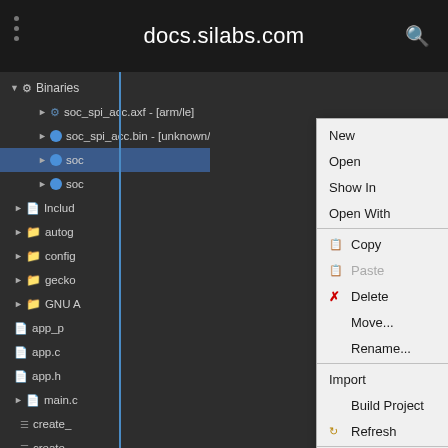[Figure (screenshot): Browser top bar showing docs.silabs.com URL with dark background, vertical dots menu on left and search icon on right]
[Figure (screenshot): IDE Eclipse-style project file tree on dark background showing Binaries folder expanded with soc_spi_acc files, alongside a context right-click menu with options: New, Open, Show In, Open With, Copy, Paste, Delete, Move..., Rename..., Import, Build Project, Refresh, Run As, Debug As, Profile As, Team]